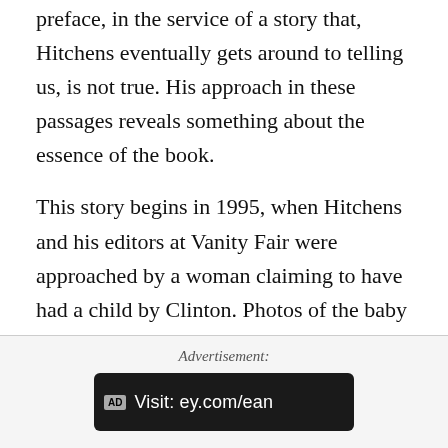preface, in the service of a story that, Hitchens eventually gets around to telling us, is not true. His approach in these passages reveals something about the essence of the book.
This story begins in 1995, when Hitchens and his editors at Vanity Fair were approached by a woman claiming to have had a child by Clinton. Photos of the baby provided "an almost offputting resemblance to the putative father." The reasons Hitchens and his editors decided against pursuing the story are worth quoting:
Advertisement:
[Figure (other): Advertisement banner with dark background showing 'AD' badge and text 'Visit: ey.com/ean']